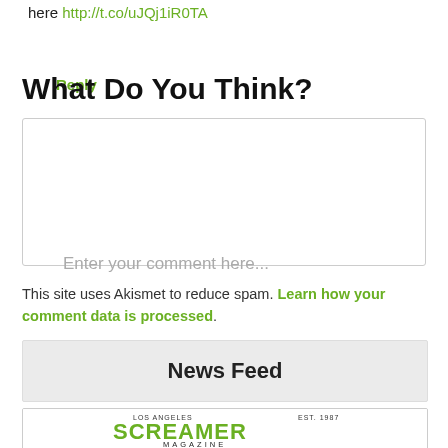here http://t.co/uJQj1iR0TA
Reply
What Do You Think?
Enter your comment here...
This site uses Akismet to reduce spam. Learn how your comment data is processed.
News Feed
[Figure (logo): Los Angeles Screamer Magazine est. 1987 Newsfeed logo]